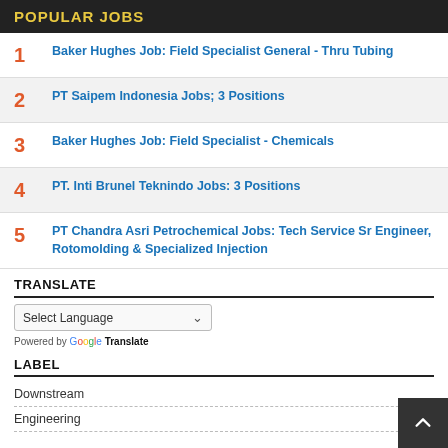POPULAR JOBS
1 Baker Hughes Job: Field Specialist General - Thru Tubing
2 PT Saipem Indonesia Jobs; 3 Positions
3 Baker Hughes Job: Field Specialist - Chemicals
4 PT. Inti Brunel Teknindo Jobs: 3 Positions
5 PT Chandra Asri Petrochemical Jobs: Tech Service Sr Engineer, Rotomolding & Specialized Injection
TRANSLATE
Select Language
Powered by Google Translate
LABEL
Downstream
Engineering